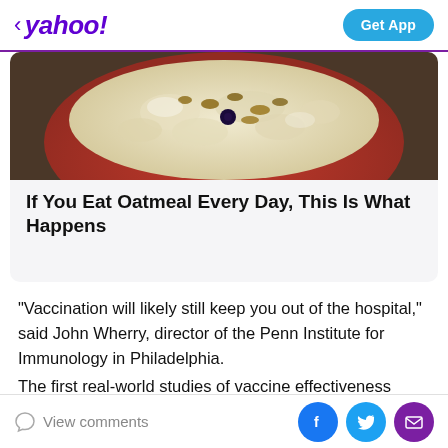< yahoo! | Get App
[Figure (photo): Photo of oatmeal in a red bowl topped with nuts and blueberries]
If You Eat Oatmeal Every Day, This Is What Happens
"Vaccination will likely still keep you out of the hospital," said John Wherry, director of the Penn Institute for Immunology in Philadelphia.
The first real-world studies of vaccine effectiveness against Omicron in the community are likely to take at least three to four weeks, as experts study rates of so-